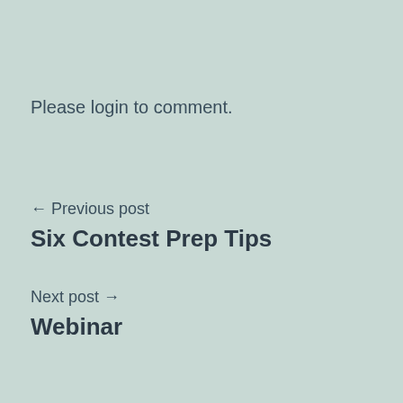Please login to comment.
← Previous post
Six Contest Prep Tips
Next post →
Webinar